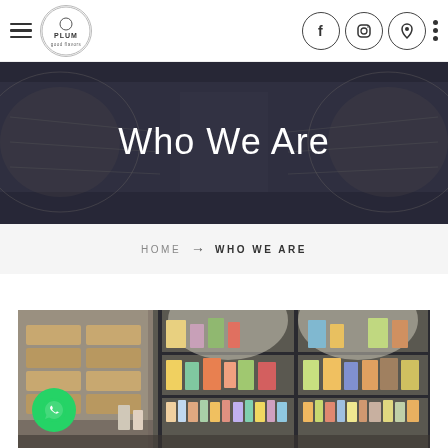PLUM — Navigation bar with hamburger menu, logo, Facebook, Instagram, Location icons, and dots menu
[Figure (photo): Panoramic interior of a retail store with shelves of products, dark overlay, showing 'Who We Are' title text in white]
Who We Are
HOME → WHO WE ARE
[Figure (photo): Interior of a retail store showing glass shelves with colorful products, wooden display units, and a counter in the foreground. A green WhatsApp chat button is visible in the lower left.]